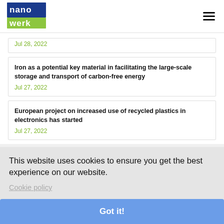nanowerk [logo] [hamburger menu]
Iron as a potential key material in facilitating the large-scale storage and transport of carbon-free energy
Jul 27, 2022
European project on increased use of recycled plastics in electronics has started
Jul 27, 2022
This website uses cookies to ensure you get the best experience on our website.
Cookie policy
Got it!
Porous crystals bind fluorine-containing greenhouse gases
Jul 26, 2022